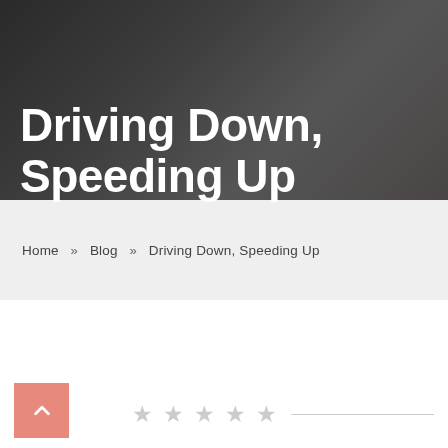[Figure (photo): Dark hero banner image with a book or document pages visible in the background, with a dark gray/charcoal overlay]
Driving Down, Speeding Up
Home » Blog » Driving Down, Speeding Up